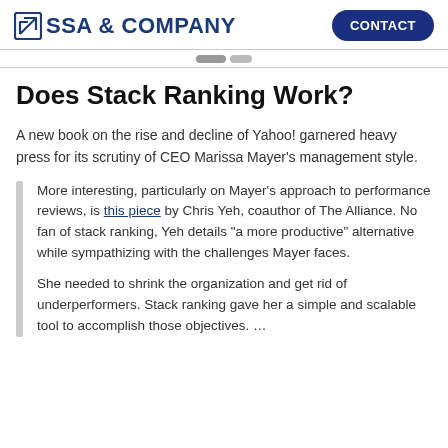SSA & COMPANY | CONTACT
Does Stack Ranking Work?
A new book on the rise and decline of Yahoo! garnered heavy press for its scrutiny of CEO Marissa Mayer’s management style.
More interesting, particularly on Mayer’s approach to performance reviews, is this piece by Chris Yeh, coauthor of The Alliance. No fan of stack ranking, Yeh details “a more productive” alternative while sympathizing with the challenges Mayer faces.
She needed to shrink the organization and get rid of underperformers. Stack ranking gave her a simple and scalable tool to accomplish those objectives. …